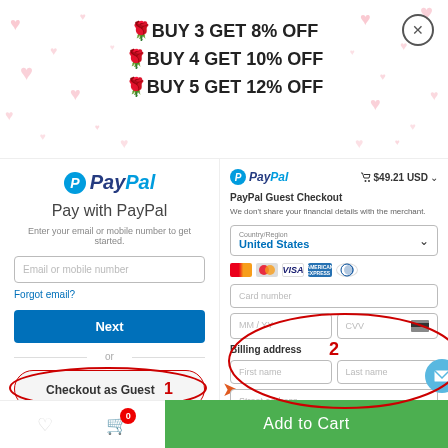🎀BUY 3 GET 8% OFF
🎀BUY 4 GET 10% OFF
🎀BUY 5 GET 12% OFF
[Figure (screenshot): PayPal Pay with PayPal login screen with email input, Next button, and Checkout as Guest option circled with red oval and labeled step 1]
[Figure (screenshot): PayPal Guest Checkout form showing card details (MM/YY, CVV, Card number), billing address fields. Circled with red oval labeled step 2. Cart shows $49.21 USD.]
Add to Cart